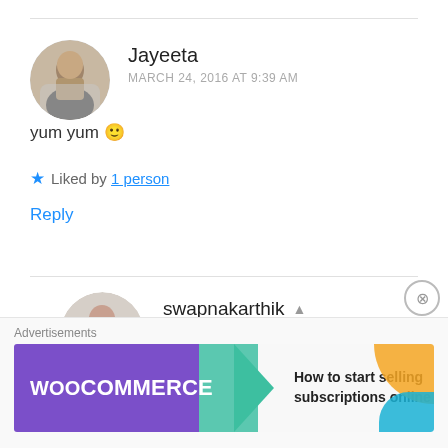Jayeeta
MARCH 24, 2016 AT 9:39 AM
yum yum 🙂
★ Liked by 1 person
Reply
swapnakarthik
MARCH 24, 2016 AT 12:21 PM
Advertisements
[Figure (illustration): WooCommerce advertisement banner with purple background, teal arrow, and text 'How to start selling subscriptions online']